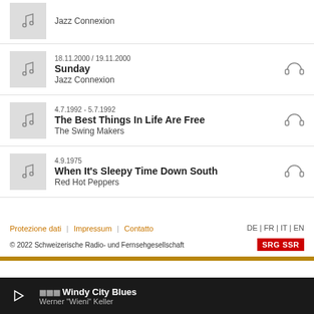Jazz Connexion (partial top item)
18.11.2000 / 19.11.2000 — Sunday — Jazz Connexion
4.7.1992 - 5.7.1992 — The Best Things In Life Are Free — The Swing Makers
4.9.1975 — When It's Sleepy Time Down South — Red Hot Peppers
Protezione dati | Impressum | Contatto   DE | FR | IT | EN   © 2022 Schweizerische Radio- und Fernsehgesellschaft  SRG SSR
Windy City Blues — Werner "Wieni" Keller